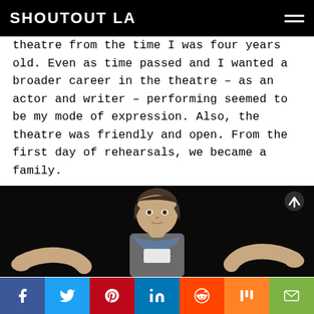SHOUTOUT LA
theatre from the time I was four years old. Even as time passed and I wanted a broader career in the theatre – as an actor and writer – performing seemed to be my mode of expression. Also, the theatre was friendly and open. From the first day of rehearsals, we became a family.
[Figure (photo): A woman with short brown hair gesturing with both arms wide open against a dark background, wearing a blue scarf and grey jacket.]
Social share bar: Facebook, Twitter, Pinterest, LinkedIn, Reddit, Mix, Email